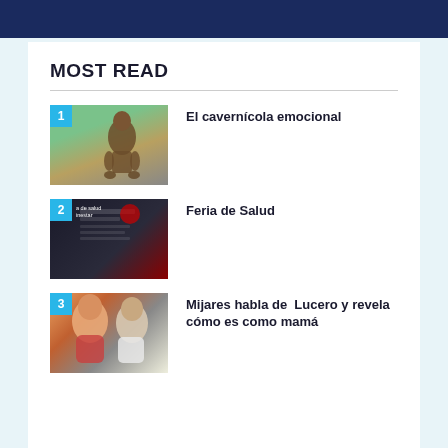[Figure (photo): Dark navy blue banner at top of page]
MOST READ
1. El cavernícola emocional
2. Feria de Salud
3. Mijares habla de  Lucero y revela cómo es como mamá